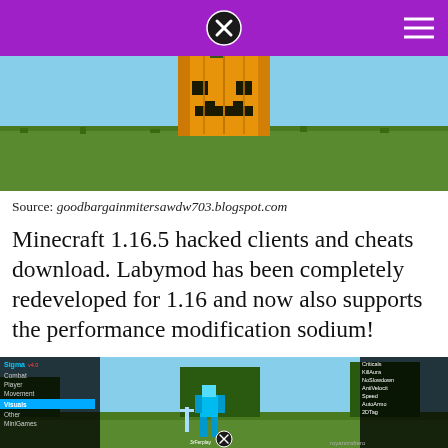[Figure (screenshot): Purple top navigation bar with close (X) button in center and hamburger menu icon on the right]
[Figure (screenshot): Minecraft game screenshot showing a pumpkin on grass terrain]
Source: goodbargainmitersawdw703.blogspot.com
Minecraft 1.16.5 hacked clients and cheats download. Labymod has been completely redeveloped for 1.16 and now also supports the performance modification sodium!
[Figure (screenshot): Minecraft game screenshot showing a character with diamond armor and sword, with a Sigma 4.0 hack client menu visible on the left side showing options: Combat, Player, Movement, Visuals (selected/highlighted), Other, MiniGames. Right side shows cheat options: Criticals, KillAura, NoSlowdown, AntiVelocity, Speed, AutoArmor, 2DTag, Sprint. Also shows player info: xd777nex, 3rFerplay, royancraftero]